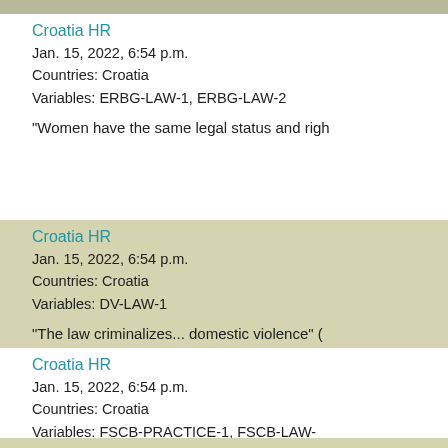Croatia HR
Jan. 15, 2022, 6:54 p.m.
Countries: Croatia
Variables: ERBG-LAW-1, ERBG-LAW-2

"Women have the same legal status and righ...
Croatia HR
Jan. 15, 2022, 6:54 p.m.
Countries: Croatia
Variables: DV-LAW-1

"The law criminalizes... domestic violence" (...
Croatia HR
Jan. 15, 2022, 6:54 p.m.
Countries: Croatia
Variables: FSCB-PRACTICE-1, FSCB-LAW-...

"There were no reports of coerced abortion o...